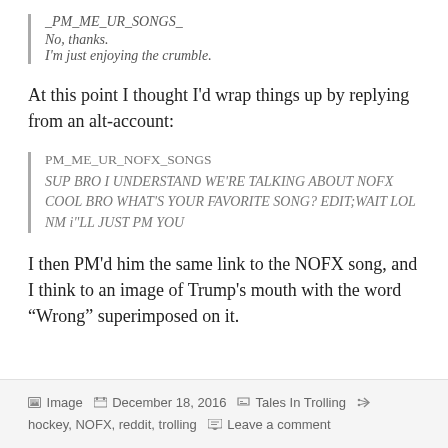_PM_ME_UR_SONGS_
No, thanks.
I'm just enjoying the crumble.
At this point I thought I'd wrap things up by replying from an alt-account:
PM_ME_UR_NOFX_SONGS
SUP BRO I UNDERSTAND WE'RE TALKING ABOUT NOFX COOL BRO WHAT'S YOUR FAVORITE SONG? EDIT;WAIT LOL NM i"LL JUST PM YOU
I then PM'd him the same link to the NOFX song, and I think to an image of Trump's mouth with the word “Wrong” superimposed on it.
Image  December 18, 2016  Tales In Trolling  hockey, NOFX, reddit, trolling  Leave a comment